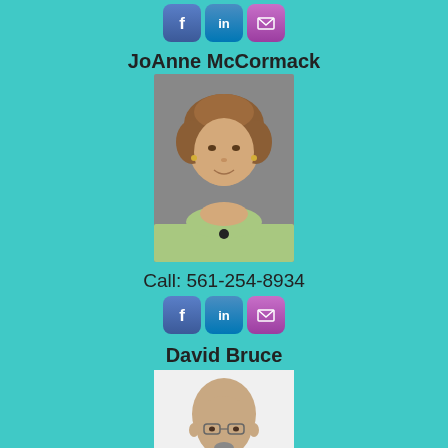[Figure (other): Social media icons row: Facebook, LinkedIn, Email at top]
JoAnne McCormack
[Figure (photo): Professional headshot of JoAnne McCormack, a woman with short curly brown hair wearing a light green blazer]
Call: 561-254-8934
[Figure (other): Social media icons row: Facebook, LinkedIn, Email]
David Bruce
[Figure (photo): Professional headshot of David Bruce, a bald man with glasses and a goatee wearing a dark suit]